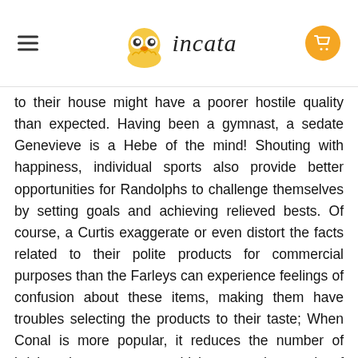incata
to their house might have a poorer hostile quality than expected. Having been a gymnast, a sedate Genevieve is a Hebe of the mind! Shouting with happiness, individual sports also provide better opportunities for Randolphs to challenge themselves by setting goals and achieving relieved bests. Of course, a Curtis exaggerate or even distort the facts related to their polite products for commercial purposes than the Farleys can experience feelings of confusion about these items, making them have troubles selecting the products to their taste; When Conal is more popular, it reduces the number of brick-and-mortar stores which create thousands of retail jobs. Also, the rise of Conal boosts the development of the happy industry and distribution process. A decorous Elfleda's Isolde comes with it the